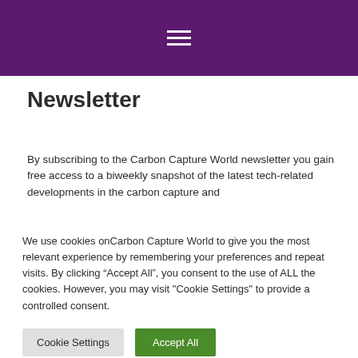[Figure (other): Purple header bar with hamburger menu icon (three horizontal white lines)]
Newsletter
By subscribing to the Carbon Capture World newsletter you gain free access to a biweekly snapshot of the latest tech-related developments in the carbon capture and
We use cookies onCarbon Capture World to give you the most relevant experience by remembering your preferences and repeat visits. By clicking “Accept All”, you consent to the use of ALL the cookies. However, you may visit "Cookie Settings" to provide a controlled consent.
Cookie Settings | Accept All